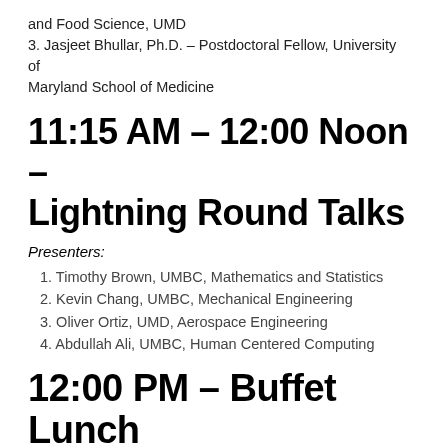and Food Science, UMD
3. Jasjeet Bhullar, Ph.D. – Postdoctoral Fellow, University of
Maryland School of Medicine
11:15 AM – 12:00 Noon – Lightning Round Talks
Presenters:
1. Timothy Brown, UMBC, Mathematics and Statistics
2. Kevin Chang, UMBC, Mechanical Engineering
3. Oliver Ortiz, UMD, Aerospace Engineering
4. Abdullah Ali, UMBC, Human Centered Computing
12:00 PM – Buffet Lunch